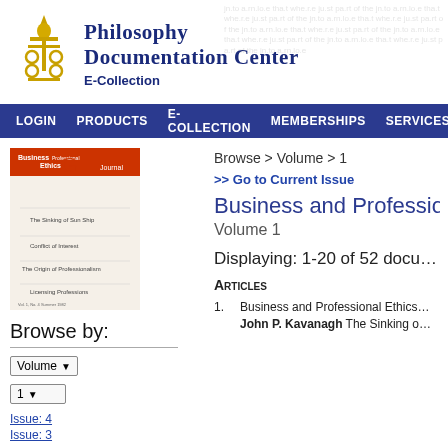Philosophy Documentation Center E-Collection
LOGIN  PRODUCTS  E-COLLECTION  MEMBERSHIPS  SERVICES
[Figure (logo): Philosophy Documentation Center logo — gold flame/torch icon]
[Figure (illustration): Cover of Business and Professional Ethics Journal, Vol. 1 No. 4, Summer 1982, showing articles: The Sinking of Sun Ship, Conflict of Interest, The Origin of Professionalism, Licensing Professions]
Browse by:
Volume ▾
1 ▾
Issue: 4
Issue: 3
Browse > Volume > 1
>> Go to Current Issue
Business and Professi…
Volume 1
Displaying: 1-20 of 52 docu…
Articles
1. Business and Professional Ethics… John P. Kavanagh The Sinking o…